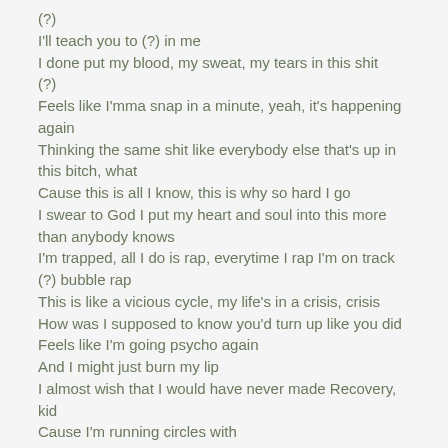(?)
I'll teach you to (?) in me
I done put my blood, my sweat, my tears in this shit
(?)
Feels like I'mma snap in a minute, yeah, it's happening again
Thinking the same shit like everybody else that's up in this bitch, what
Cause this is all I know, this is why so hard I go
I swear to God I put my heart and soul into this more than anybody knows
I'm trapped, all I do is rap, everytime I rap I'm on track
(?) bubble rap
This is like a vicious cycle, my life's in a crisis, crisis
How was I supposed to know you'd turn up like you did
Feels like I'm going psycho again
And I might just burn my lip
I almost wish that I would have never made Recovery, kid
Cause I'm running circles with
Hook
Verse 3: 50 Cent